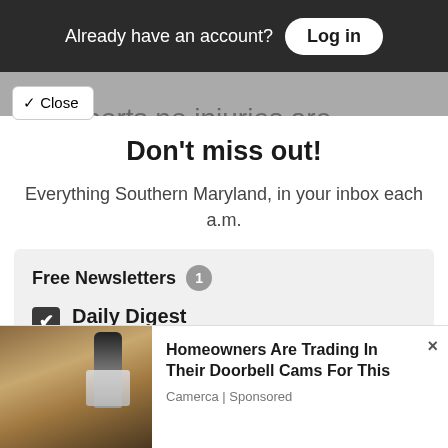Already have an account? Log in
reports no injuries are involved in this . Police are still investigating the
✓ Close
Don't miss out!
Everything Southern Maryland, in your inbox each a.m.
Free Newsletters 1
Daily Digest
A roundup of the latest news
[Figure (screenshot): Advertisement banner: Homeowners Are Trading In Their Doorbell Cams For This — Camerca | Sponsored, with a wall-mounted lamp photo on the left]